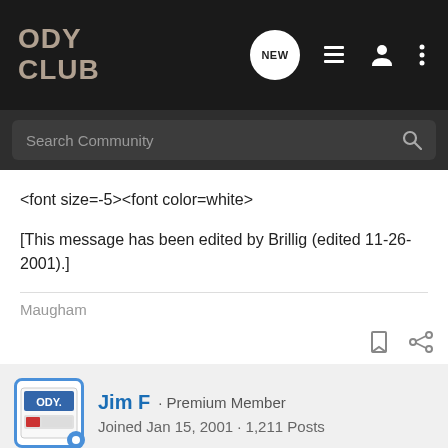ODY CLUB
<font size=-5><font color=white>
[This message has been edited by Brillig (edited 11-26-2001).]
Maugham
Jim F · Premium Member
Joined Jan 15, 2001 · 1,211 Posts
#14 · Nov 25, 2001